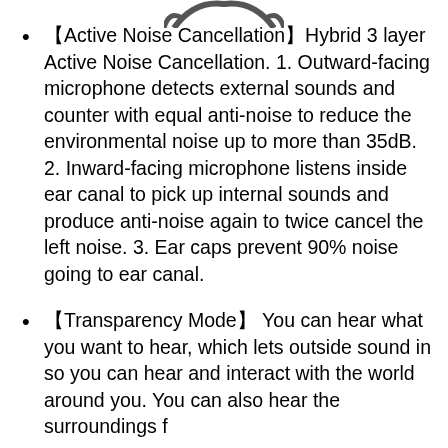【Active Noise Cancellation】Hybrid 3 layer Active Noise Cancellation. 1. Outward-facing microphone detects external sounds and counter with equal anti-noise to reduce the environmental noise up to more than 35dB. 2. Inward-facing microphone listens inside ear canal to pick up internal sounds and produce anti-noise again to twice cancel the left noise. 3. Ear caps prevent 90% noise going to ear canal.
【Transparency Mode】 You can hear what you want to hear, which lets outside sound in so you can hear and interact with the world around you. You can also hear the surroundings f...